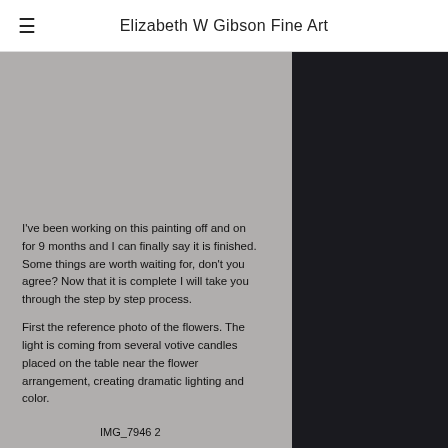Elizabeth W Gibson Fine Art
[Figure (photo): Two-panel image: left panel shows a light gray/silver background (painting or photo in progress), right panel shows a very dark background with a partially visible dark floral image]
I've been working on this painting off and on for 9 months and I can finally say it is finished.  Some things are worth waiting for, don't you agree?  Now that it is complete I will take you through the step by step process.
First the reference photo of the flowers.  The light is coming from several votive candles placed on the table near the flower arrangement, creating dramatic lighting and color.
IMG_7946 2